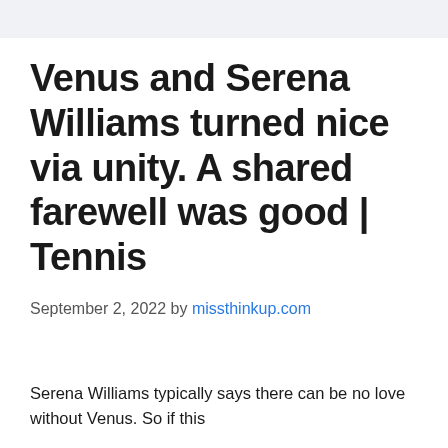Venus and Serena Williams turned nice via unity. A shared farewell was good | Tennis
September 2, 2022 by missthinkup.com
Serena Williams typically says there can be no love without Venus. So if this...